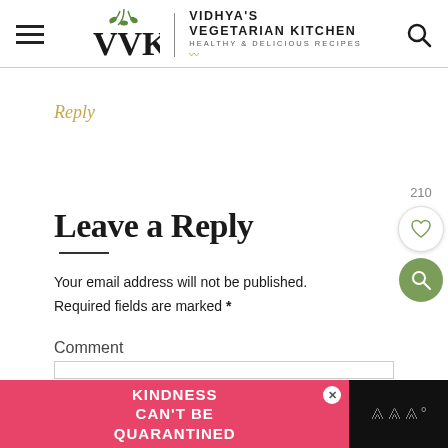VVK | VIDHYA'S VEGETARIAN KITCHEN HEALTHY & DELICIOUS RECIPES
Reply
Leave a Reply
Your email address will not be published. Required fields are marked *
Comment
[Figure (other): Advertisement banner: pink/red background with white bold text reading KINDNESS CAN'T BE QUARANTINED, with a close button and dark right panel with Wnter logo]